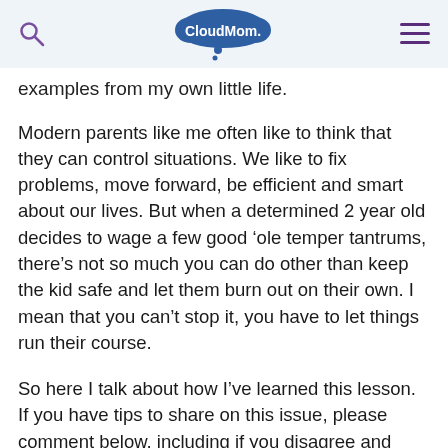CloudMom.
examples from my own little life.
Modern parents like me often like to think that they can control situations.  We like to fix problems, move forward, be efficient and smart about our lives.  But when a determined 2 year old decides to wage a few good ‘ole temper tantrums, there’s not so much you can do other than keep the kid safe and let them burn out on their own.  I mean that you can’t stop it, you have to let things run their course.
So here I talk about how I’ve learned this lesson.  If you have tips to share on this issue, please comment below, including if you disagree and favor a form of attachment